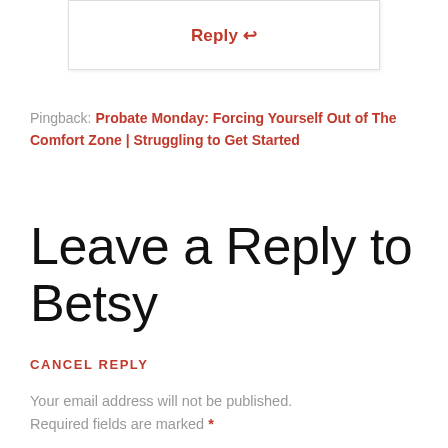[Figure (screenshot): Reply button with arrow icon inside a bordered box]
Pingback: Probate Monday: Forcing Yourself Out of The Comfort Zone | Struggling to Get Started
Leave a Reply to Betsy
CANCEL REPLY
Your email address will not be published.
Required fields are marked *
Comment *
ABC